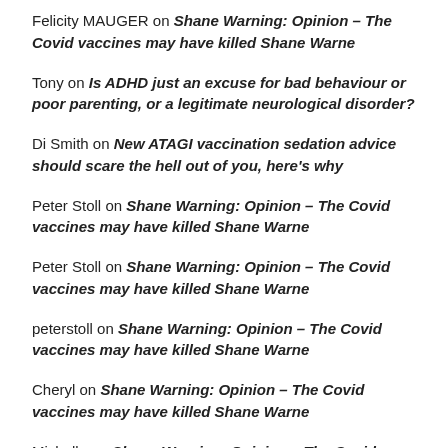Felicity MAUGER on Shane Warning: Opinion – The Covid vaccines may have killed Shane Warne
Tony on Is ADHD just an excuse for bad behaviour or poor parenting, or a legitimate neurological disorder?
Di Smith on New ATAGI vaccination sedation advice should scare the hell out of you, here's why
Peter Stoll on Shane Warning: Opinion – The Covid vaccines may have killed Shane Warne
Peter Stoll on Shane Warning: Opinion – The Covid vaccines may have killed Shane Warne
peterstoll on Shane Warning: Opinion – The Covid vaccines may have killed Shane Warne
Cheryl on Shane Warning: Opinion – The Covid vaccines may have killed Shane Warne
Michelle on Shane Warning: Opinion – The Covid vaccines may have killed Shane Warne